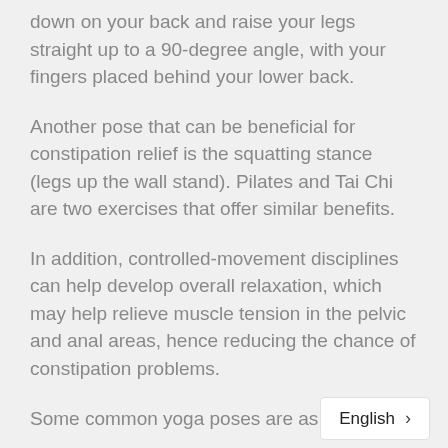down on your back and raise your legs straight up to a 90-degree angle, with your fingers placed behind your lower back.
Another pose that can be beneficial for constipation relief is the squatting stance (legs up the wall stand). Pilates and Tai Chi are two exercises that offer similar benefits.
In addition, controlled-movement disciplines can help develop overall relaxation, which may help relieve muscle tension in the pelvic and anal areas, hence reducing the chance of constipation problems.
Some common yoga poses are as follows:
Sarvanga Asana - The Candle Pose